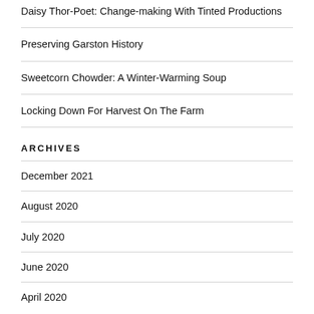Daisy Thor-Poet: Change-making With Tinted Productions
Preserving Garston History
Sweetcorn Chowder: A Winter-Warming Soup
Locking Down For Harvest On The Farm
ARCHIVES
December 2021
August 2020
July 2020
June 2020
April 2020